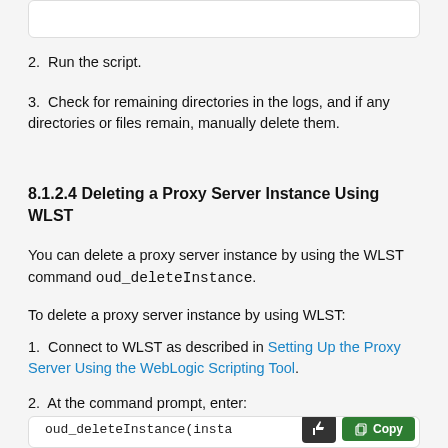[Figure (screenshot): Top portion of a code box, partially visible at the top of the page]
2. Run the script.
3. Check for remaining directories in the logs, and if any directories or files remain, manually delete them.
8.1.2.4 Deleting a Proxy Server Instance Using WLST
You can delete a proxy server instance by using the WLST command oud_deleteInstance.
To delete a proxy server instance by using WLST:
1. Connect to WLST as described in Setting Up the Proxy Server Using the WebLogic Scripting Tool.
2. At the command prompt, enter:
[Figure (screenshot): Code box at the bottom showing oud_deleteInstance(insta... with Copy button and thumbs up button]